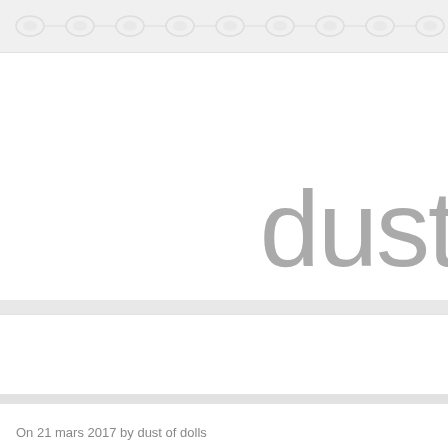[Figure (illustration): Top decorative banner with lace/damask pattern in light gray on light background]
[Figure (logo): Partial logo text reading 'dust' (and more off-screen) in large light gray sans-serif font on white background]
On 21 mars 2017 by dust of dolls